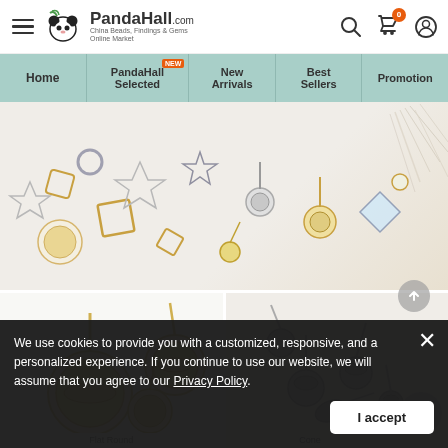[Figure (screenshot): PandaHall website header with hamburger menu, panda logo, PandaHall.com brand name, and right-side icons for search, cart (badge: 0), and profile]
[Figure (screenshot): Navigation bar with menu items: Home, PandaHall Selected (NEW badge), New Arrivals, Best Sellers, Promotion on teal/sage green background]
[Figure (photo): Banner image showing assorted golden and silver earring stud findings — various shapes including stars, squares, rounds, spread across a white background, with a decorative feather/pampas grass on the right side]
[Figure (photo): Left product image showing gold-tone flat round earring stud settings with posts — shallow cup bezels, two pairs visible]
Flat Round
[Figure (photo): Right product image showing stainless steel cone/cup earring stud post settings — silver tone, scattered pile view]
Cone
We use cookies to provide you with a customized, responsive, and a personalized experience. If you continue to use our website, we will assume that you agree to our Privacy Policy.
I accept